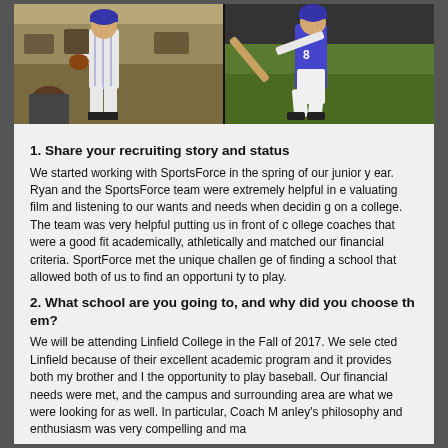[Figure (photo): Two baseball player photos side by side: left shows a pitcher in pinstripe uniform, right shows a batter in blue uniform swinging]
1. Share your recruiting story and status
We started working with SportsForce in the spring of our junior year. Ryan and the SportsForce team were extremely helpful in evaluating film and listening to our wants and needs when deciding on a college. The team was very helpful putting us in front of college coaches that were a good fit academically, athletically and matched our financial criteria. SportForce met the unique challenge of finding a school that allowed both of us to find an opportunity to play.
2. What school are you going to, and why did you choose them?
We will be attending Linfield College in the Fall of 2017. We selected Linfield because of their excellent academic program and it provides both my brother and I the opportunity to play baseball. Our financial needs were met, and the campus and surrounding area are what we were looking for as well. In particular, Coach Manley's philosophy and enthusiasm was very compelling and ma...